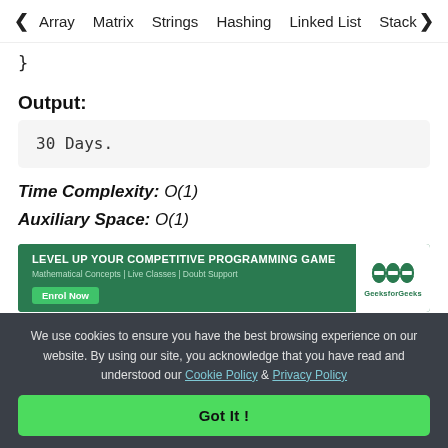< Array   Matrix   Strings   Hashing   Linked List   Stack >
}
Output:
30 Days.
Time Complexity: O(1)
Auxiliary Space: O(1)
[Figure (infographic): GeeksforGeeks advertisement banner: 'LEVEL UP YOUR COMPETITIVE PROGRAMMING GAME' with subtitle 'Mathematical Concepts | Live Classes | Doubt Support', Enrol Now button, and GeeksforGeeks logo.]
We use cookies to ensure you have the best browsing experience on our website. By using our site, you acknowledge that you have read and understood our Cookie Policy & Privacy Policy
Got It !